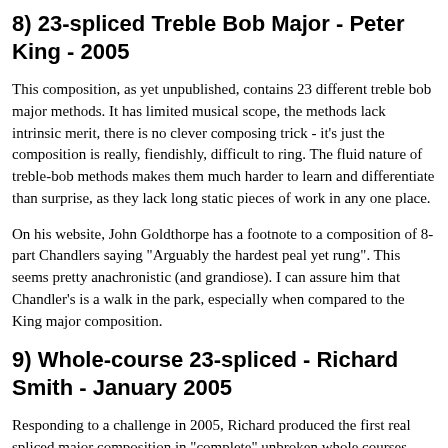8) 23-spliced Treble Bob Major - Peter King - 2005
This composition, as yet unpublished, contains 23 different treble bob major methods. It has limited musical scope, the methods lack intrinsic merit, there is no clever composing trick - it's just the composition is really, fiendishly, difficult to ring. The fluid nature of treble-bob methods makes them much harder to learn and differentiate than surprise, as they lack long static pieces of work in any one place.
On his website, John Goldthorpe has a footnote to a composition of 8-part Chandlers saying "Arguably the hardest peal yet rung". This seems pretty anachronistic (and grandiose). I can assure him that Chandler's is a walk in the park, especially when compared to the King major composition.
9) Whole-course 23-spliced - Richard Smith - January 2005
Responding to a challenge in 2005, Richard produced the first real spliced major composition in "complete" unbroken whole courses.